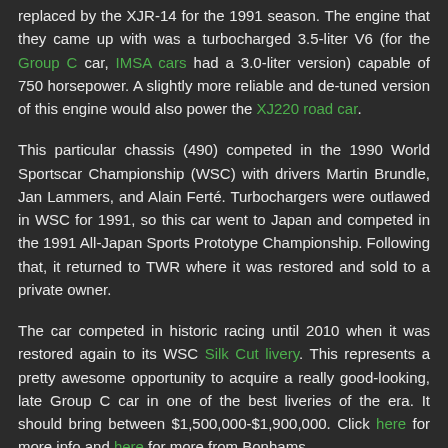replaced by the XJR-14 for the 1991 season. The engine that they came up with was a turbocharged 3.5-liter V6 (for the Group C car, IMSA cars had a 3.0-liter version) capable of 750 horsepower. A slightly more reliable and de-tuned version of this engine would also power the XJ220 road car.
This particular chassis (490) competed in the 1990 World Sportscar Championship (WSC) with drivers Martin Brundle, Jan Lammers, and Alain Ferté. Turbochargers were outlawed in WSC for 1991, so this car went to Japan and competed in the 1991 All-Japan Sports Prototype Championship. Following that, it returned to TWR where it was restored and sold to a private owner.
The car competed in historic racing until 2010 when it was restored again to its WSC Silk Cut livery. This represents a pretty awesome opportunity to acquire a really good-looking, late Group C car in one of the best liveries of the era. It should bring between $1,500,000-$1,900,000. Click here for more info and here for more from Bonhams.